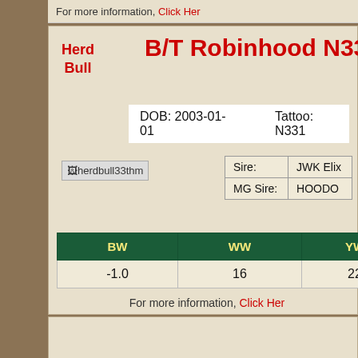For more information, Click Here
B/T Robinhood N331B
Herd Bull
DOB: 2003-01-01    Tattoo: N331
[Figure (photo): Thumbnail photo placeholder: herdbull33thm]
|  |  |
| --- | --- |
| Sire: | JWK Elix |
| MG Sire: | HOODO |
| BW | WW | YW |
| --- | --- | --- |
| -1.0 | 16 | 22 |
For more information, Click Here